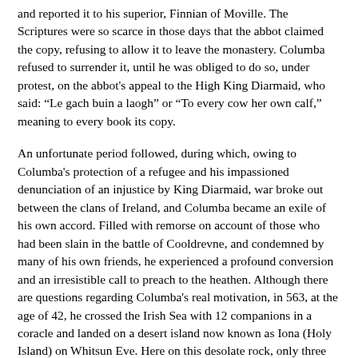and reported it to his superior, Finnian of Moville. The Scriptures were so scarce in those days that the abbot claimed the copy, refusing to allow it to leave the monastery. Columba refused to surrender it, until he was obliged to do so, under protest, on the abbot's appeal to the High King Diarmaid, who said: “Le gach buin a laogh” or “To every cow her own calf,” meaning to every book its copy.
An unfortunate period followed, during which, owing to Columba's protection of a refugee and his impassioned denunciation of an injustice by King Diarmaid, war broke out between the clans of Ireland, and Columba became an exile of his own accord. Filled with remorse on account of those who had been slain in the battle of Cooldrevne, and condemned by many of his own friends, he experienced a profound conversion and an irresistible call to preach to the heathen. Although there are questions regarding Columba's real motivation, in 563, at the age of 42, he crossed the Irish Sea with 12 companions in a coracle and landed on a desert island now known as Iona (Holy Island) on Whitsun Eve. Here on this desolate rock, only three miles long and two miles wide, in the grey northern sea off the southwest corner of Mull, he began his work; and, like Lindisfarne, Iona became a centre of Christian enterprise. It was the heart of Celtic Christianity and the most potent factor in the conversion of the Picts, Scots, and Northern English.